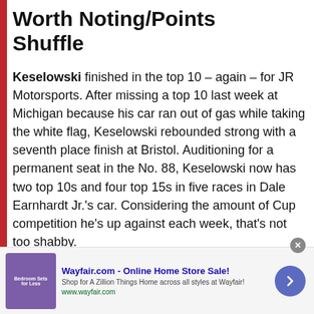Worth Noting/Points Shuffle
Keselowski finished in the top 10 – again – for JR Motorsports. After missing a top 10 last week at Michigan because his car ran out of gas while taking the white flag, Keselowski rebounded strong with a seventh place finish at Bristol. Auditioning for a permanent seat in the No. 88, Keselowski now has two top 10s and four top 15s in five races in Dale Earnhardt Jr.'s car. Considering the amount of Cup competition he's up against each week, that's not too shabby.
[Figure (other): Wayfair.com advertisement banner with text 'Wayfair.com - Online Home Store Sale! Shop for A Zillion Things Home across all styles at Wayfair! www.wayfair.com' and a purple bedroom furniture image with a blue navigation arrow button.]